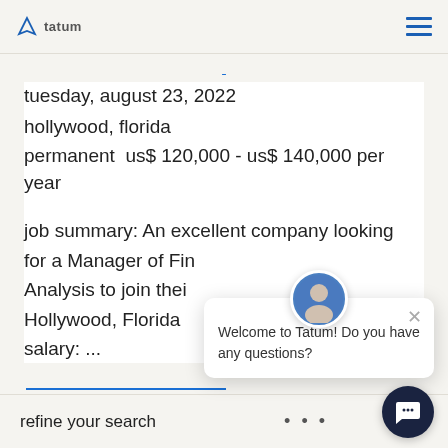Tatum
tuesday, august 23, 2022
hollywood, florida
permanent  us$ 120,000 - us$ 140,000 per year
job summary: An excellent company looking for a Manager of Financial Analysis to join their team in Hollywood, Florida ... salary: ...
refine your search   • • •